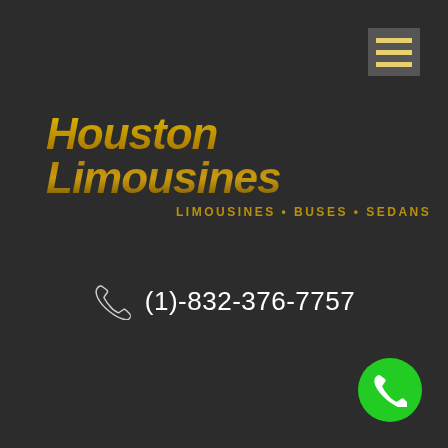[Figure (logo): Houston Limousines logo with gold italic bold text and subtitle 'LIMOUSINES • BUSES • SEDANS']
(1)-832-376-7757
[Figure (other): Green circular call button with phone icon in bottom right corner]